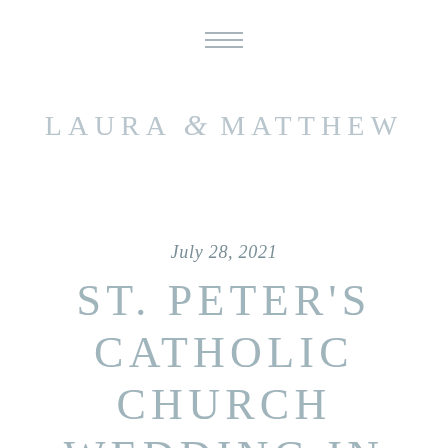[Figure (other): Three horizontal lines forming a hamburger/menu icon in muted steel blue-gray color]
LAURA & MATTHEW
July 28, 2021
ST. PETER'S CATHOLIC CHURCH WEDDING IN STEUBENVILLE, OH